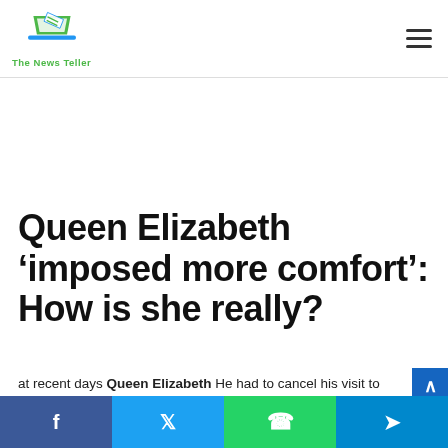The News Teller
Queen Elizabeth ‘imposed more comfort’: How is she really?
at recent days Queen Elizabeth He had to cancel his visit to Northern Ireland due to his one-night hospitalization. The